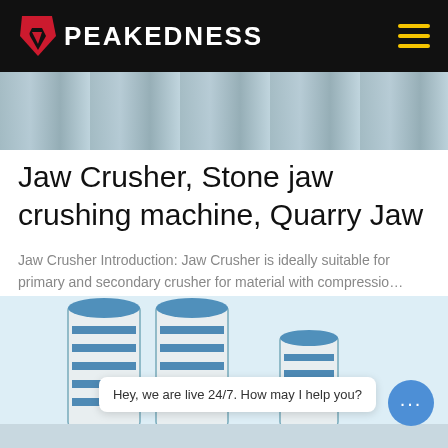PEAKEDNESS
[Figure (photo): Industrial equipment photo at top of page, showing machinery in blue and green tones]
Jaw Crusher, Stone jaw crushing machine, Quarry Jaw
Jaw Crusher Introduction: Jaw Crusher is ideally suitable for primary and secondary crusher for material with compressio…
Learn More
[Figure (photo): Industrial silos/cement storage containers, blue and white, photographed from below]
Hey, we are live 24/7. How may I help you?